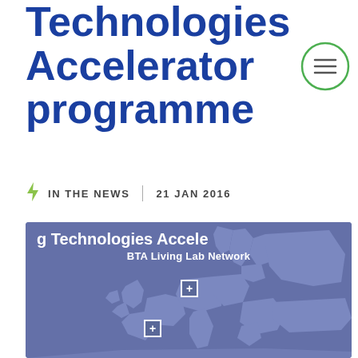Technologies Accelerator programme
IN THE NEWS  |  21 JAN 2016
[Figure (map): BTA Living Lab Network map showing Europe with location markers, title reads 'g Technologies Accele' (clipped) and subtitle 'BTA Living Lab Network']